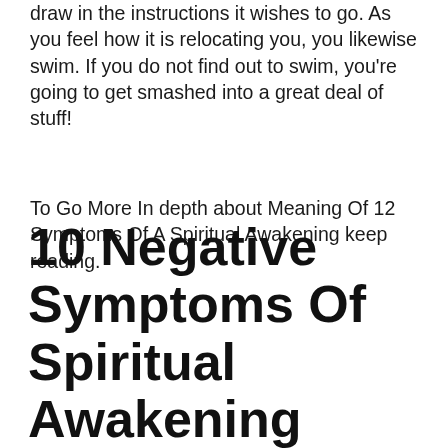draw in the instructions it wishes to go. As you feel how it is relocating you, you likewise swim. If you do not find out to swim, you're going to get smashed into a great deal of stuff!
To Go More In depth about Meaning Of 12 Symptoms Of A Spiritual Awakening keep reading.
10 Negative Symptoms Of Spiritual Awakening